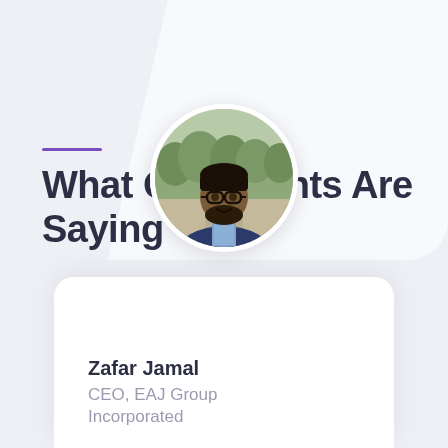What Our Clients Are Saying
[Figure (photo): Circular profile photo of Zafar Jamal, a man wearing glasses and a navy blazer over a blue patterned shirt, outdoors with blurred trees in background]
Zafar Jamal
CEO, EAJ Group Incorporated